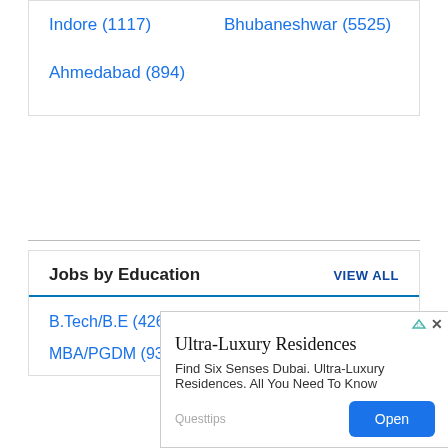Indore (1117)
Bhubaneshwar (5525)
Ahmedabad (894)
Jobs by Education
VIEW ALL
B.Tech/B.E (42629)
10TH (40504)
MBA/PGDM (9305)
Diploma (51302)
[Figure (screenshot): Advertisement overlay for Ultra-Luxury Residences - Six Senses Dubai, with Open button]